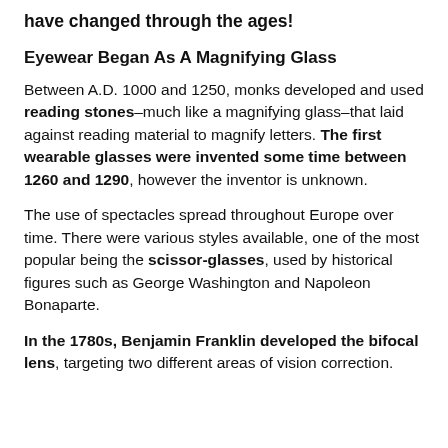have changed through the ages!
Eyewear Began As A Magnifying Glass
Between A.D. 1000 and 1250, monks developed and used reading stones–much like a magnifying glass–that laid against reading material to magnify letters. The first wearable glasses were invented some time between 1260 and 1290, however the inventor is unknown.
The use of spectacles spread throughout Europe over time. There were various styles available, one of the most popular being the scissor-glasses, used by historical figures such as George Washington and Napoleon Bonaparte.
In the 1780s, Benjamin Franklin developed the bifocal lens, targeting two different areas of vision correction.